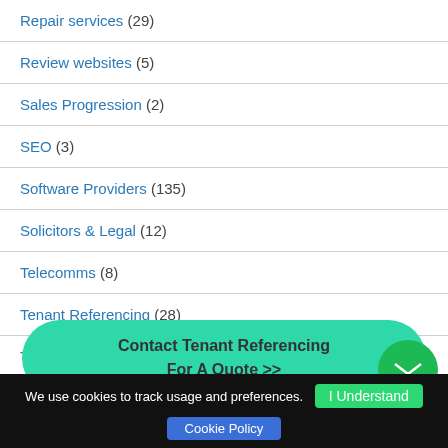Repair services (29)
Review websites (5)
Sales Progression (2)
SEO (3)
Software Providers (135)
Solicitors & Legal (12)
Telecomms (8)
Tenant Referencing (28)
Trade Magazine (4)
Training (18)
Vaa...
Contact Tenant Referencing For A Quote >>
We use cookies to track usage and preferences.  I Understand  Cookie Policy